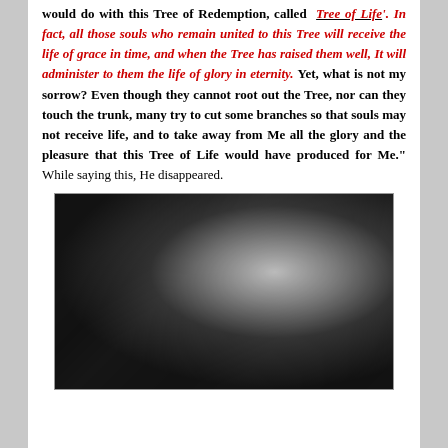would do with this Tree of Redemption, called 'Tree of Life'. In fact, all those souls who remain united to this Tree will receive the life of grace in time, and when the Tree has raised them well, It will administer to them the life of glory in eternity. Yet, what is not my sorrow? Even though they cannot root out the Tree, nor can they touch the trunk, many try to cut some branches so that souls may not receive life, and to take away from Me all the glory and the pleasure that this Tree of Life would have produced for Me." While saying this, He disappeared.
[Figure (photo): Black and white photograph of a woman in dark clothing holding or looking at a crucifix, photographed in profile.]